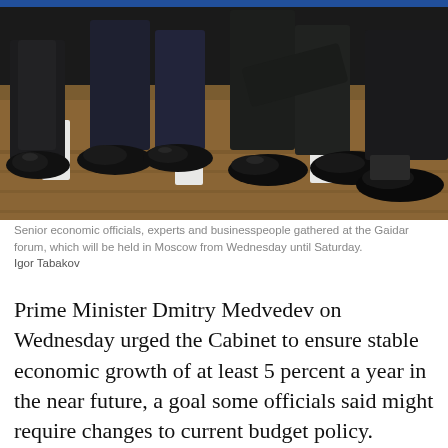[Figure (photo): Legs and feet of several men in dark suits sitting on white chairs on a wooden floor. The photo shows their shoes and lower legs only.]
Senior economic officials, experts and businesspeople gathered at the Gaidar forum, which will be held in Moscow from Wednesday until Saturday.
Igor Tabakov
Prime Minister Dmitry Medvedev on Wednesday urged the Cabinet to ensure stable economic growth of at least 5 percent a year in the near future, a goal some officials said might require changes to current budget policy.